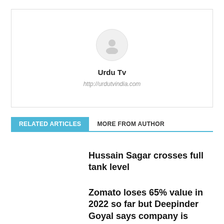[Figure (illustration): Author profile box with circular avatar placeholder, bold name 'Urdu Tv', and URL http://urdutvindia.com]
Urdu Tv
http://urdutvindia.com
RELATED ARTICLES   MORE FROM AUTHOR
Hussain Sagar crosses full tank level
Zomato loses 65% value in 2022 so far but Deepinder Goyal says company is racing toward profitability